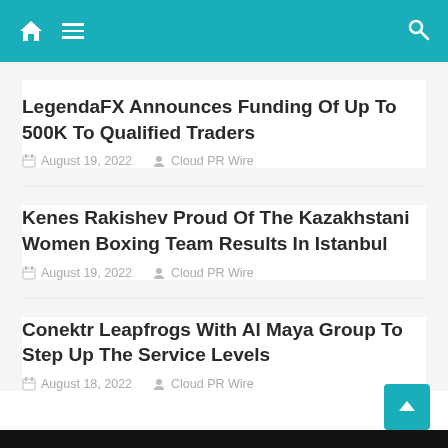Navigation bar with home, menu, and search icons
LegendaFX Announces Funding Of Up To 500K To Qualified Traders
August 19, 2022  Cloud PR Wire
Kenes Rakishev Proud Of The Kazakhstani Women Boxing Team Results In Istanbul
August 19, 2022  Cloud PR Wire
Conektr Leapfrogs With Al Maya Group To Step Up The Service Levels
August 18, 2022  Cloud PR Wire